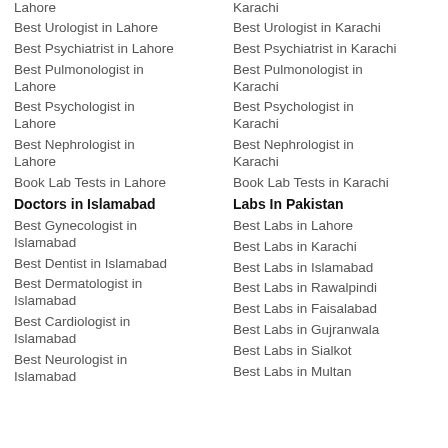Lahore
Karachi
Best Urologist in Lahore
Best Urologist in Karachi
Best Psychiatrist in Lahore
Best Psychiatrist in Karachi
Best Pulmonologist in Lahore
Best Pulmonologist in Karachi
Best Psychologist in Lahore
Best Psychologist in Karachi
Best Nephrologist in Lahore
Best Nephrologist in Karachi
Book Lab Tests in Lahore
Book Lab Tests in Karachi
Doctors in Islamabad
Labs In Pakistan
Best Gynecologist in Islamabad
Best Labs in Lahore
Best Dentist in Islamabad
Best Labs in Karachi
Best Dermatologist in Islamabad
Best Labs in Islamabad
Best Cardiologist in Islamabad
Best Labs in Rawalpindi
Best Neurologist in Islamabad
Best Labs in Faisalabad
Best Labs in Gujranwala
Best Labs in Sialkot
Best Labs in Multan